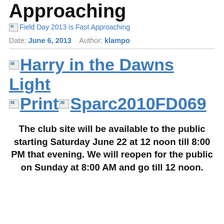Approaching
Field Day 2013 is Fast Approaching
Date: June 6, 2013   Author: klampo
[Figure (other): Linked images: Harry in the Dawns Light, Print, Sparc2010FD069]
The club site will be available to the public starting Saturday June 22 at 12 noon till 8:00 PM that evening. We will reopen for the public on Sunday at 8:00 AM and go till 12 noon.